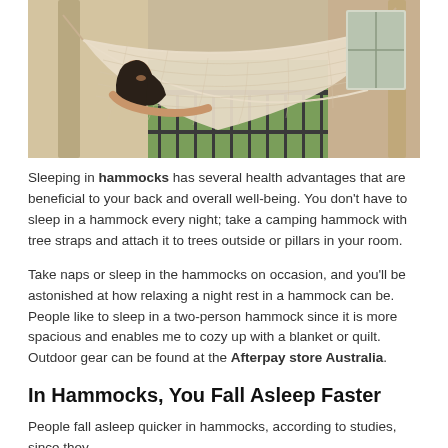[Figure (photo): A woman lying in a large cream-colored woven hammock on a porch or outdoor area, surrounded by greenery and an iron fence in the background.]
Sleeping in hammocks has several health advantages that are beneficial to your back and overall well-being. You don't have to sleep in a hammock every night; take a camping hammock with tree straps and attach it to trees outside or pillars in your room.
Take naps or sleep in the hammocks on occasion, and you'll be astonished at how relaxing a night rest in a hammock can be. People like to sleep in a two-person hammock since it is more spacious and enables me to cozy up with a blanket or quilt. Outdoor gear can be found at the Afterpay store Australia.
In Hammocks, You Fall Asleep Faster
People fall asleep quicker in hammocks, according to studies, since they